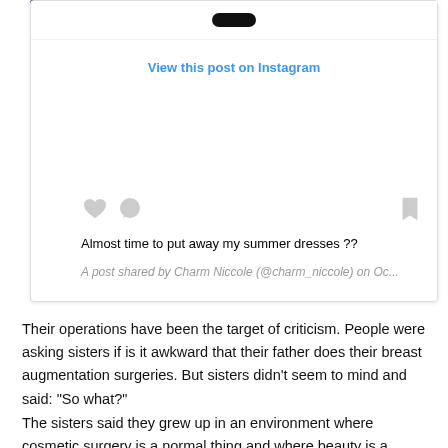[Figure (screenshot): Instagram embed widget showing a post with 'View this post on Instagram' link, like/comment/bookmark icons, post caption and shared byline]
Almost time to put away my summer dresses ??
A post shared by Charm Niccole (@charm_niccole) on Oc...
Their operations have been the target of criticism. People were asking sisters if is it awkward that their father does their breast augmentation surgeries. But sisters didn't seem to mind and said: "So what?"
The sisters said they grew up in an environment where cosmetic surgery is a normal thing and where beauty is a significant thing,